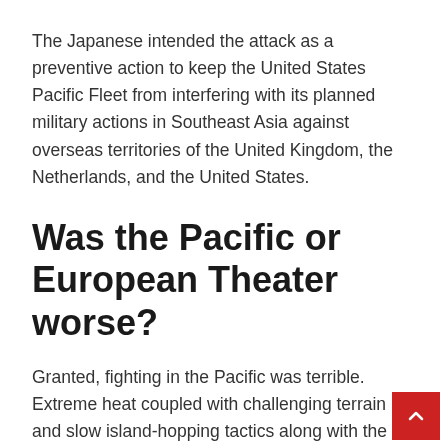The Japanese intended the attack as a preventive action to keep the United States Pacific Fleet from interfering with its planned military actions in Southeast Asia against overseas territories of the United Kingdom, the Netherlands, and the United States.
Was the Pacific or European Theater worse?
Granted, fighting in the Pacific was terrible. Extreme heat coupled with challenging terrain and slow island-hopping tactics along with the Japanese ability to dig in led to some